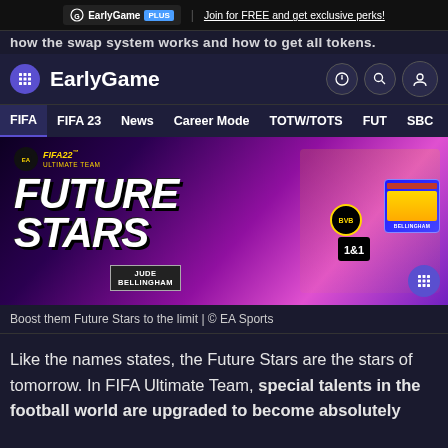EarlyGame PLUS | Join for FREE and get exclusive perks!
how the swap system works and how to get all tokens.
EarlyGame
FIFA  FIFA 23  News  Career Mode  TOTW/TOTS  FUT  SBC
[Figure (photo): FIFA 22 Future Stars promotional banner featuring Jude Bellingham in a BVB yellow jersey with the Future Stars logo and player card]
Boost them Future Stars to the limit | © EA Sports
Like the names states, the Future Stars are the stars of tomorrow. In FIFA Ultimate Team, special talents in the football world are upgraded to become absolutely